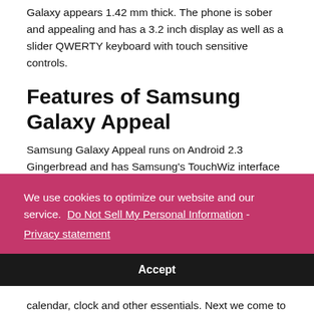Galaxy appears 1.42 mm thick. The phone is sober and appealing and has a 3.2 inch display as well as a slider QWERTY keyboard with touch sensitive controls.
Features of Samsung Galaxy Appeal
Samsung Galaxy Appeal runs on Android 2.3 Gingerbread and has Samsung's TouchWiz interface as well. This 3G data mobile phone also offers GPS, Wi-Fi as well as Bluetooth support. Like other Android devices,
We use cookies to optimize our website and our service.  Do Not Sell My Personal Information - Privacy statement
Accept
calendar, clock and other essentials. Next we come to